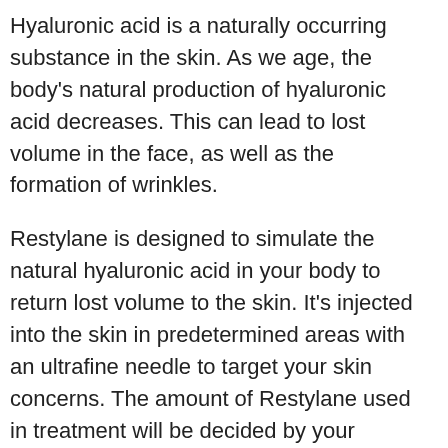Hyaluronic acid is a naturally occurring substance in the skin. As we age, the body's natural production of hyaluronic acid decreases. This can lead to lost volume in the face, as well as the formation of wrinkles.
Restylane is designed to simulate the natural hyaluronic acid in your body to return lost volume to the skin. It's injected into the skin in predetermined areas with an ultrafine needle to target your skin concerns. The amount of Restylane used in treatment will be decided by your doctor depending on your skin and desired results.
Restylane smooths, evens, and lifts the skin in